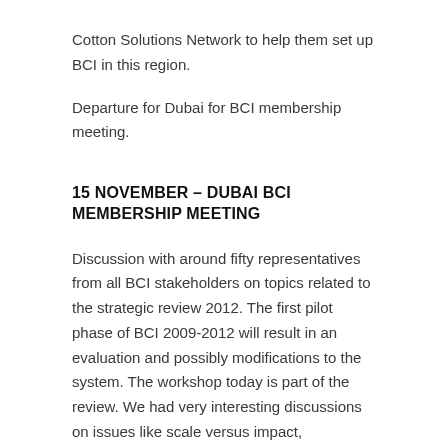Cotton Solutions Network to help them set up BCI in this region.
Departure for Dubai for BCI membership meeting.
15 NOVEMBER – DUBAI BCI MEMBERSHIP MEETING
Discussion with around fifty representatives from all BCI stakeholders on topics related to the strategic review 2012. The first pilot phase of BCI 2009-2012 will result in an evaluation and possibly modifications to the system. The workshop today is part of the review. We had very interesting discussions on issues like scale versus impact, compliance versus improvement and income generation for BCI organisation as well as funds for the BCI farm